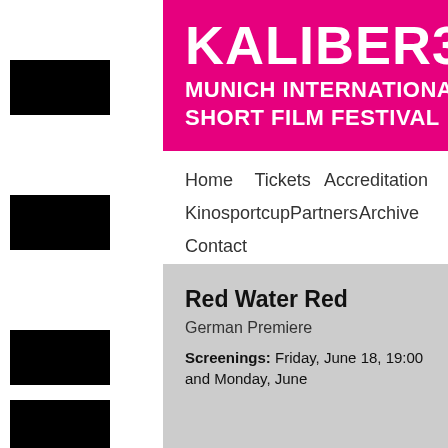[Figure (illustration): Film strip sprocket holes on left side of page]
KALIBER35 MUNICH INTERNATIONAL SHORT FILM FESTIVAL
Home    Tickets    Accreditation
Kinosportcup    Partners    Archive
Contact
Red Water Red
German Premiere
Screenings: Friday, June 18, 19:00 and Monday, June